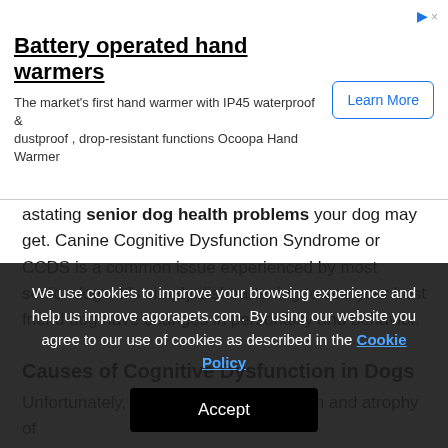[Figure (other): Advertisement banner for Ocoopa Battery operated hand warmers with a 'Learn More' button]
astating senior dog health problems your dog may get. Canine Cognitive Dysfunction Syndrome or CCDS is a common issue experienced by most senior dogs. It's simply disheartening to see your best friend dog have changes in personality and behavior.
Causes of Cognitive Dysfunction in Dogs
Unfortunately, a decline in brain function and atrophy of
We use cookies to improve your browsing experience and help us improve agorapets.com. By using our website you agree to our use of cookies as described in the Cookie Policy
Accept